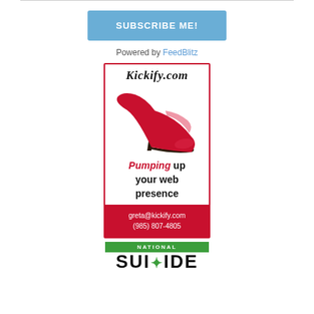[Figure (other): Blue 'SUBSCRIBE ME!' button]
Powered by FeedBlitz
[Figure (illustration): Kickify.com advertisement with red high heel shoe image, tagline 'Pumping up your web presence', contact info greta@kickify.com (985) 807-4805]
[Figure (logo): National Suicide Prevention logo/banner, partially visible]